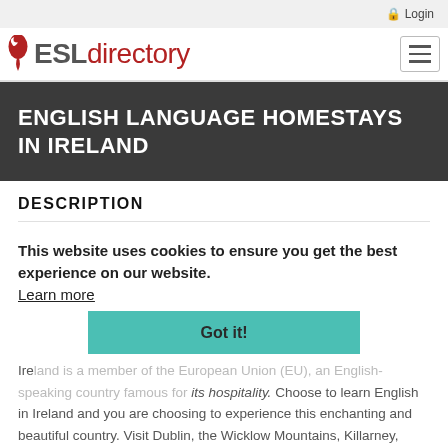Login
[Figure (logo): ESLdirectory logo with stylized bird icon]
ENGLISH LANGUAGE HOMESTAYS IN IRELAND
DESCRIPTION
This website uses cookies to ensure you get the best experience on our website. Learn more Got it! Ireland is a member of the European Union (EU), an English-speaking country famous for its hospitality. Choose to learn English in Ireland and you are choosing to experience this enchanting and beautiful country. Visit Dublin, the Wicklow Mountains, Killarney, Cork City or why not take a day trip to kiss the Blarney Stone at Blarney Castle? Eurolingua's homestay Ireland programme guarantees that learners get to see this beautiful country and experience a truly